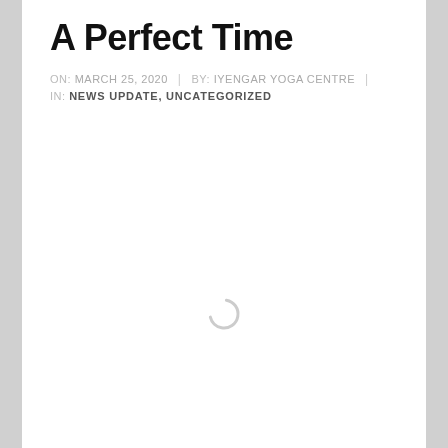A Perfect Time
ON: MARCH 25, 2020 | BY: IYENGAR YOGA CENTRE | IN: NEWS UPDATE, UNCATEGORIZED
[Figure (other): Loading spinner (circular progress indicator) in the center of the content area]